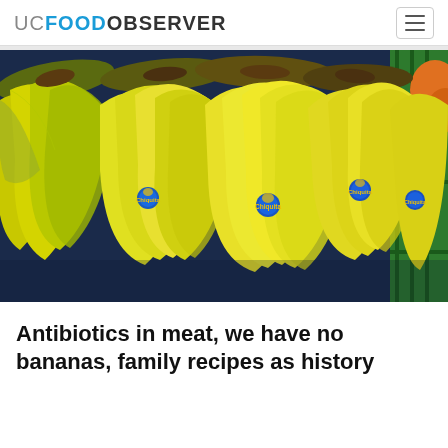UC FOOD OBSERVER
[Figure (photo): Close-up photograph of bunches of yellow Chiquita bananas with blue Chiquita stickers, displayed against a dark blue background with green plastic crates visible on the right side.]
Antibiotics in meat, we have no bananas, family recipes as history